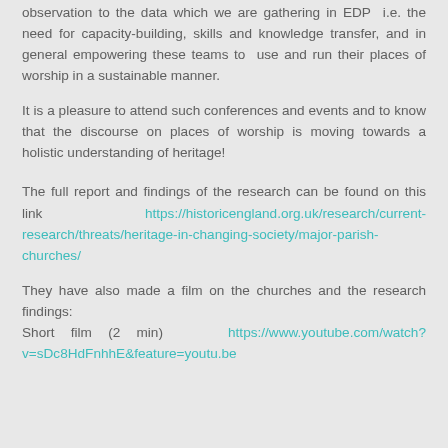observation to the data which we are gathering in EDP  i.e. the need for capacity-building, skills and knowledge transfer, and in general empowering these teams to  use and run their places of worship in a sustainable manner.
It is a pleasure to attend such conferences and events and to know that the discourse on places of worship is moving towards a holistic understanding of heritage!
The full report and findings of the research can be found on this link   https://historicengland.org.uk/research/current-research/threats/heritage-in-changing-society/major-parish-churches/
They have also made a film on the churches and the research findings:
Short film (2 min)  https://www.youtube.com/watch?v=sDc8HdFnhhE&feature=youtu.be